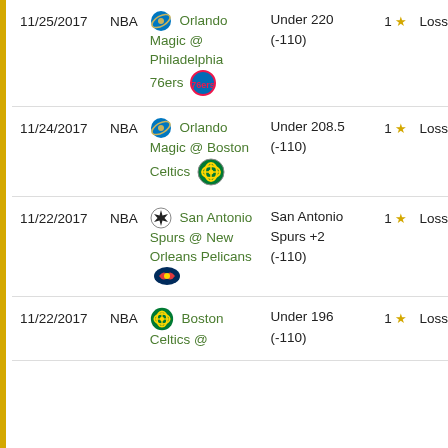| Date | League | Game | Pick | Stars | Result |
| --- | --- | --- | --- | --- | --- |
| 11/25/2017 | NBA | Orlando Magic @ Philadelphia 76ers | Under 220 (-110) | 1 | Loss |
| 11/24/2017 | NBA | Orlando Magic @ Boston Celtics | Under 208.5 (-110) | 1 | Loss |
| 11/22/2017 | NBA | San Antonio Spurs @ New Orleans Pelicans | San Antonio Spurs +2 (-110) | 1 | Loss |
| 11/22/2017 | NBA | Boston Celtics @ Miami Heat | Under 196 (-110) | 1 | Loss |